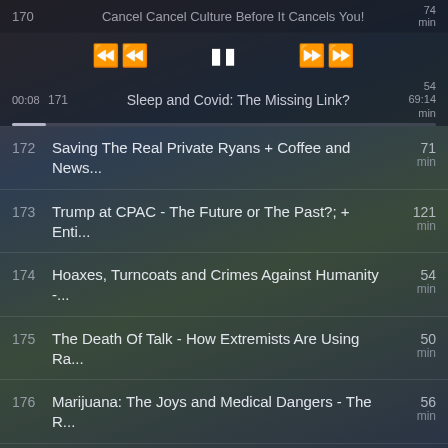170  Cancel Cancel Culture Before It Cancels You!  74 min
[Figure (screenshot): Podcast player controls: rewind, pause, fast-forward buttons]
171  Sleep and Covid: The Missing Link?  00:08  54  69:14 min
172  Saving The Real Private Ryans + Coffee and News...  71 min
173  Trump at CPAC - The Future or The Past?; + Enti...  121 min
174  Hoaxes, Turncoats and Crimes Against Humanity -...  54 min
175  The Death Of Talk - How Extremists Are Using Ra...  50 min
176  Marijuana: The Joys and Medical Dangers - The R...  56 min
177  Not Guilty, But Guilty - The Dem Persecution  55